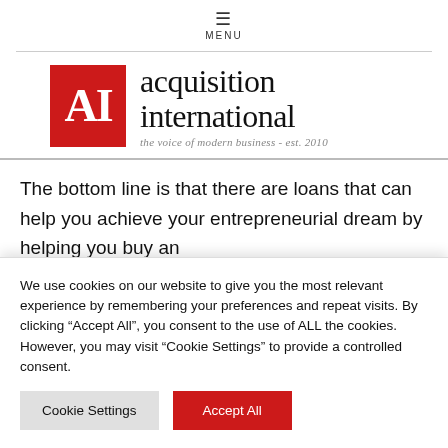≡ MENU
[Figure (logo): Acquisition International logo: red square with white 'AI' text, followed by 'acquisition international' in serif font with tagline 'the voice of modern business - est. 2010']
The bottom line is that there are loans that can help you achieve your entrepreneurial dream by helping you buy an existing business. Like any other loan, these loans need you
We use cookies on our website to give you the most relevant experience by remembering your preferences and repeat visits. By clicking "Accept All", you consent to the use of ALL the cookies. However, you may visit "Cookie Settings" to provide a controlled consent.